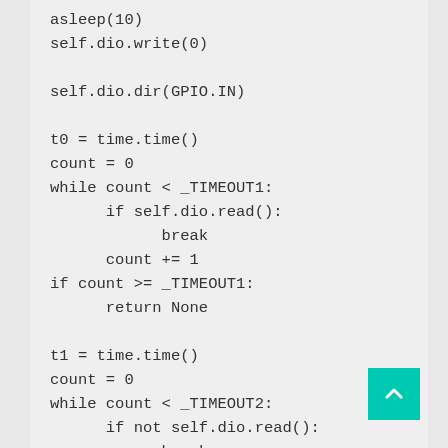asleep(10)
self.dio.write(0)

self.dio.dir(GPIO.IN)

t0 = time.time()
count = 0
while count < _TIMEOUT1:
    if self.dio.read():
        break
    count += 1
if count >= _TIMEOUT1:
    return None

t1 = time.time()
count = 0
while count < _TIMEOUT2:
    if not self.dio.read():
        break
    count += 1